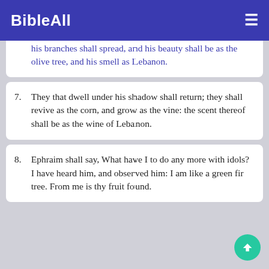BibleAll
his branches shall spread, and his beauty shall be as the olive tree, and his smell as Lebanon.
7. They that dwell under his shadow shall return; they shall revive as the corn, and grow as the vine: the scent thereof shall be as the wine of Lebanon.
8. Ephraim shall say, What have I to do any more with idols? I have heard him, and observed him: I am like a green fir tree. From me is thy fruit found.